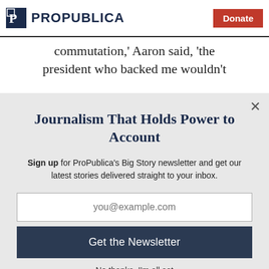ProPublica | Donate
commutation,' Aaron said, 'the president who backed me wouldn't
Journalism That Holds Power to Account
Sign up for ProPublica's Big Story newsletter and get our latest stories delivered straight to your inbox.
you@example.com
Get the Newsletter
No thanks, I'm all set
This site is protected by reCAPTCHA and the Google Privacy Policy and Terms of Service apply.